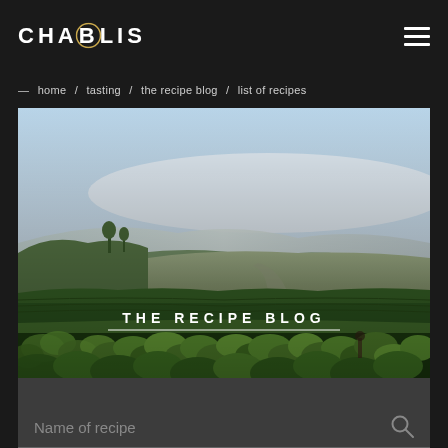CHABLIS
home / tasting / the recipe blog / list of recipes
[Figure (photo): Wide-angle landscape photograph of green Chablis vineyards in foreground with misty rolling hills and open farmland in the background under a pale blue sky. Text overlay reads THE RECIPE BLOG with a white underline.]
Name of recipe